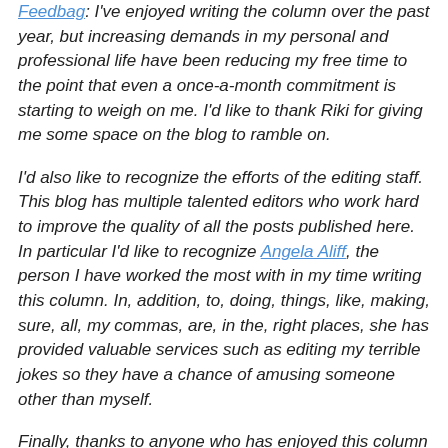Feedbag: I've enjoyed writing the column over the past year, but increasing demands in my personal and professional life have been reducing my free time to the point that even a once-a-month commitment is starting to weigh on me. I'd like to thank Riki for giving me some space on the blog to ramble on.
I'd also like to recognize the efforts of the editing staff. This blog has multiple talented editors who work hard to improve the quality of all the posts published here. In particular I'd like to recognize Angela Aliff, the person I have worked the most with in my time writing this column. In, addition, to, doing, things, like, making, sure, all, my commas, are, in the, right places, she has provided valuable services such as editing my terrible jokes so they have a chance of amusing someone other than myself.
Finally, thanks to anyone who has enjoyed this column enough to be a reader!